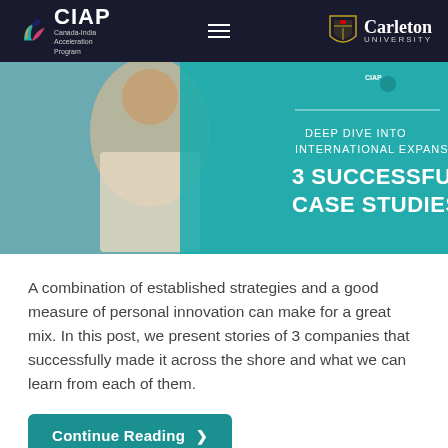CIAP Canada-India Acceleration Program | Carleton University
[Figure (illustration): Hero banner image showing a woman smiling with teal overlay text: DEEP DIVE INTO INTERNATIONAL EXPANSION: 3 SUCCESSFUL CASE STUDIES, with CIAP logo in top right corner]
A combination of established strategies and a good measure of personal innovation can make for a great mix. In this post, we present stories of 3 companies that successfully made it across the shore and what we can learn from each of them.
Continue Reading ❯